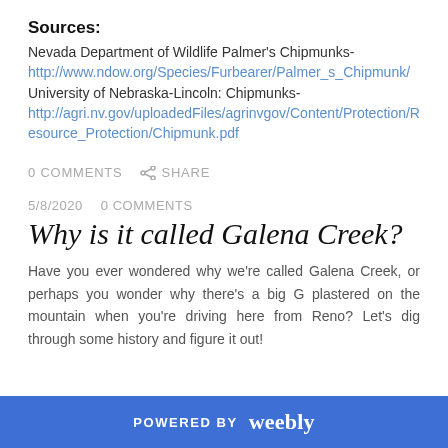Sources:
Nevada Department of Wildlife Palmer's Chipmunks-
http://www.ndow.org/Species/Furbearer/Palmer_s_Chipmunk/
University of Nebraska-Lincoln: Chipmunks-
http://agri.nv.gov/uploadedFiles/agrinvgov/Content/Protection/Resource_Protection/Chipmunk.pdf
0 COMMENTS    SHARE
5/8/2020    0 COMMENTS
Why is it called Galena Creek?
Have you ever wondered why we're called Galena Creek, or perhaps you wonder why there's a big G plastered on the mountain when you're driving here from Reno? Let's dig through some history and figure it out!
POWERED BY weebly